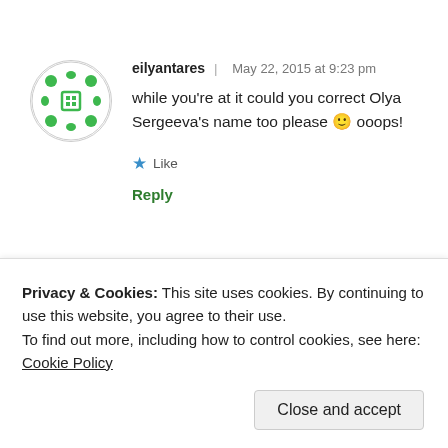[Figure (illustration): Circular avatar with green decorative pattern on white background]
eilyantares | May 22, 2015 at 9:23 pm
while you're at it could you correct Olya Sergeeva's name too please 🙂 ooops!
★ Like
Reply
Privacy & Cookies: This site uses cookies. By continuing to use this website, you agree to their use.
To find out more, including how to control cookies, see here: Cookie Policy
Close and accept